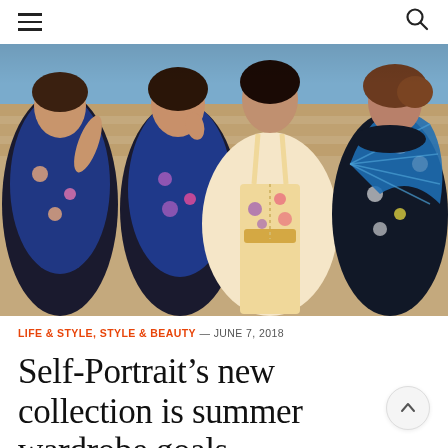≡  [search icon]
[Figure (photo): Four female models posing outdoors against a brick wall, wearing floral dresses in blue, yellow, and dark tones. One model holds a large blue pleated fan. Fashion editorial photo.]
LIFE & STYLE, STYLE & BEAUTY — JUNE 7, 2018
Self-Portrait's new collection is summer wardrobe goals